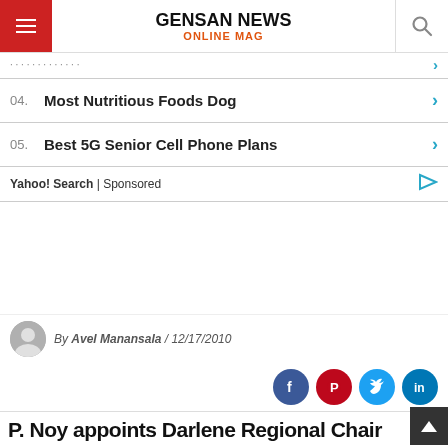GENSAN NEWS ONLINE MAG
04. Most Nutritious Foods Dog
05. Best 5G Senior Cell Phone Plans
Yahoo! Search | Sponsored
By Avel Manansala / 12/17/2010
P. Noy appoints Darlene Regional Chair